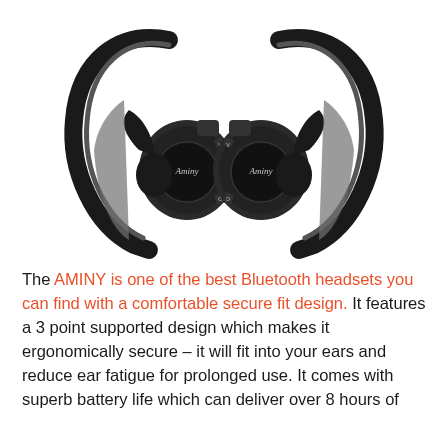[Figure (photo): Pair of Aminy brand wireless Bluetooth sport earbuds/headset with over-ear hooks, shown symmetrically facing each other on a white background. The earbuds are black with ear-hook design and visible control buttons.]
The AMINY is one of the best Bluetooth headsets you can find with a comfortable secure fit design. It features a 3 point supported design which makes it ergonomically secure – it will fit into your ears and reduce ear fatigue for prolonged use. It comes with superb battery life which can deliver over 8 hours of